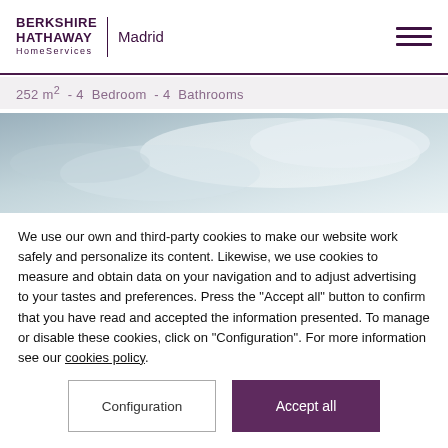BERKSHIRE HATHAWAY HomeServices | Madrid
252 m² - 4 Bedroom - 4 Bathrooms
[Figure (photo): Aerial or landscape photo with soft blue-grey tones, partially visible, used as property image background.]
We use our own and third-party cookies to make our website work safely and personalize its content. Likewise, we use cookies to measure and obtain data on your navigation and to adjust advertising to your tastes and preferences. Press the "Accept all" button to confirm that you have read and accepted the information presented. To manage or disable these cookies, click on "Configuration". For more information see our cookies policy.
Configuration
Accept all